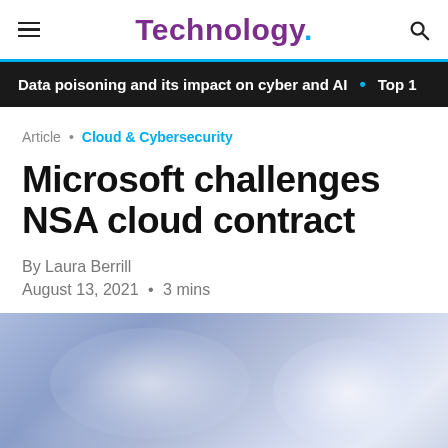Technology.
Data poisoning and its impact on cyber and AI  •  Top 1
Article  •  Cloud & Cybersecurity
Microsoft challenges NSA cloud contract
By Laura Berrill
August 13, 2021  •  3 mins
[Figure (photo): Blue-toned atmospheric cloud/sky photo used as article hero image]